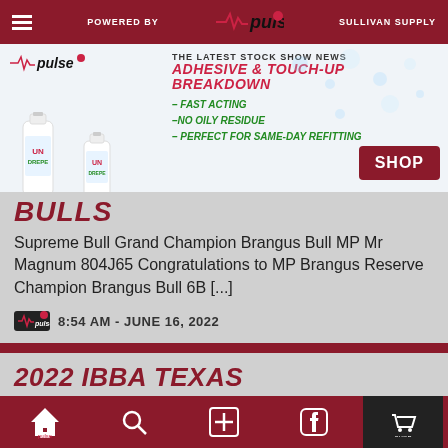POWERED BY | pulse | SULLIVAN SUPPLY | THE LATEST STOCK SHOW NEWS
[Figure (infographic): Advertisement banner for Undrepe adhesive product: two product bottles on left, pulse logo top center, text 'ADHESIVE & TOUCH-UP BREAKDOWN - FAST ACTING -NO OILY RESIDUE - PERFECT FOR SAME-DAY REFITTING', SHOP button on right]
BULLS
Supreme Bull Grand Champion Brangus Bull MP Mr Magnum 804J65 Congratulations to MP Brangus Reserve Champion Brangus Bull 6B [...]
8:54 AM - JUNE 16, 2022
2022 IBBA TEXAS INVITATIONAL | BRANGUS COW-CALF PAIRS
Navigation bar: home (pulse), search, add, facebook, shop